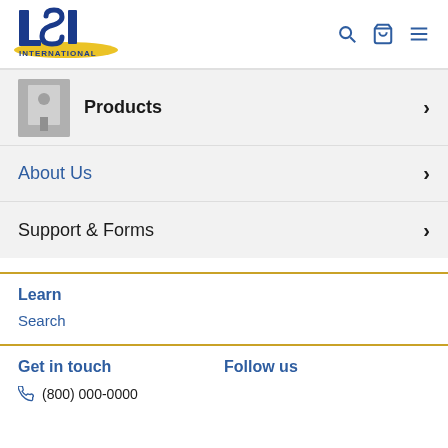[Figure (logo): LSI International logo in blue and yellow]
Products
About Us
Support & Forms
Learn
Search
Get in touch
Follow us
(800) 000-0000